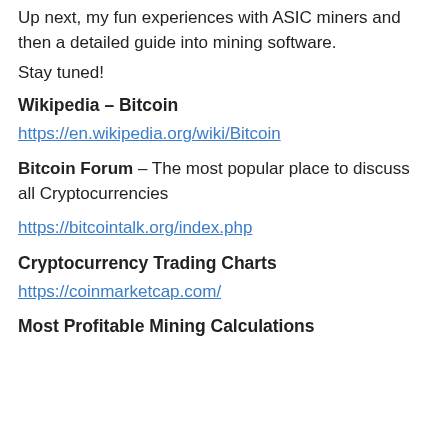Up next, my fun experiences with ASIC miners and then a detailed guide into mining software.
Stay tuned!
Wikipedia – Bitcoin
https://en.wikipedia.org/wiki/Bitcoin
Bitcoin Forum – The most popular place to discuss all Cryptocurrencies
https://bitcointalk.org/index.php
Cryptocurrency Trading Charts
https://coinmarketcap.com/
Most Profitable Mining Calculations